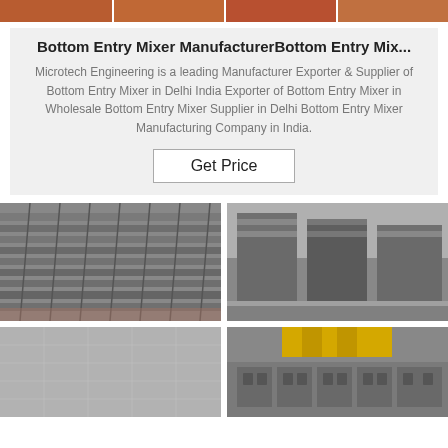[Figure (photo): Top strip showing brick/construction product images in orange-brown tones]
Bottom Entry Mixer ManufacturerBottom Entry Mix...
Microtech Engineering is a leading Manufacturer Exporter & Supplier of Bottom Entry Mixer in Delhi India Exporter of Bottom Entry Mixer in Wholesale Bottom Entry Mixer Supplier in Delhi Bottom Entry Mixer Manufacturing Company in India.
[Figure (other): Get Price button]
[Figure (photo): Photo of grey concrete paving bricks laid out in rows on a surface]
[Figure (photo): Photo of stacked grey concrete bricks in a mold/tray]
[Figure (photo): Photo of grey concrete surface/pavement]
[Figure (photo): Photo of hollow concrete blocks being made with yellow machinery]